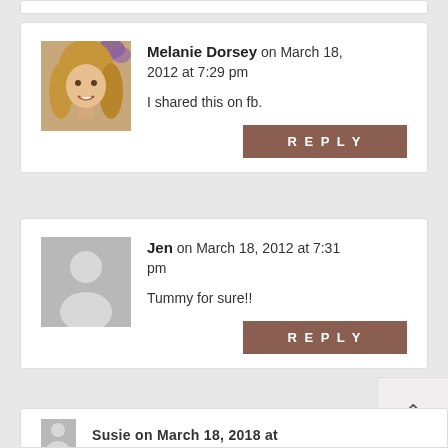Melanie Dorsey on March 18, 2012 at 7:29 pm — I shared this on fb.
Jen on March 18, 2012 at 7:31 pm — Tummy for sure!!
(partial third comment visible)